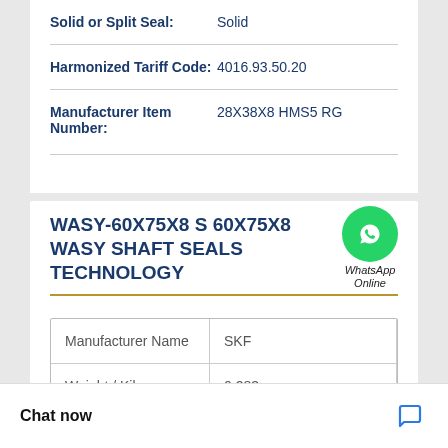| Solid or Split Seal: | Solid |
| Harmonized Tariff Code: | 4016.93.50.20 |
| Manufacturer Item Number: | 28X38X8 HMS5 RG |
WASY-60X75X8 S 60X75X8 WASY SHAFT SEALS TECHNOLOGY
| Manufacturer Name | SKF |
| Weight / Kilogram | 0.283 |